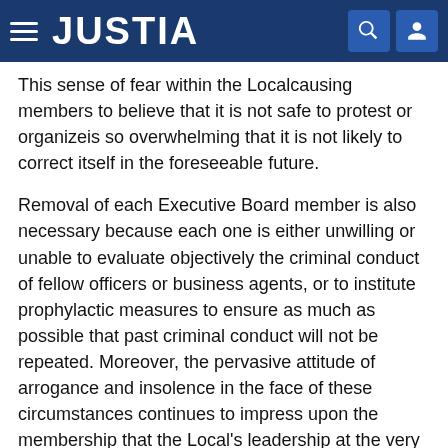JUSTIA
This sense of fear within the Localcausing members to believe that it is not safe to protest or organizeis so overwhelming that it is not likely to correct itself in the foreseeable future.
Removal of each Executive Board member is also necessary because each one is either unwilling or unable to evaluate objectively the criminal conduct of fellow officers or business agents, or to institute prophylactic measures to ensure as much as possible that past criminal conduct will not be repeated. Moreover, the pervasive attitude of arrogance and insolence in the face of these circumstances continues to impress upon the membership that the Local's leadership at the very least condones criminal conduct. This, too, serves to perpetuate the atmosphere of intimidation and to suppress any dissent.